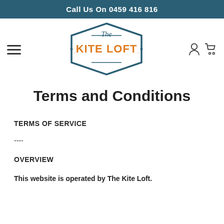Call Us On 0459 416 816
[Figure (logo): The Kite Loft logo — hexagonal badge shape in teal/dark blue outline with 'The' in script above and 'KITE LOFT' in orange bold letters inside]
Terms and Conditions
TERMS OF SERVICE
----
OVERVIEW
This website is operated by The Kite Loft.